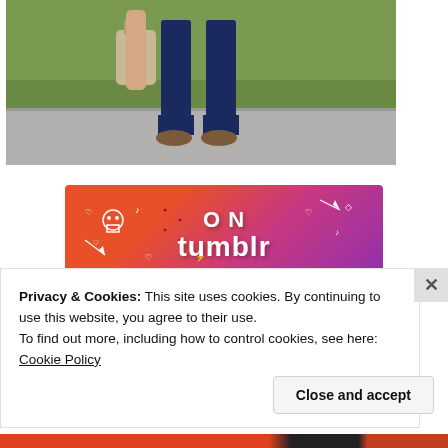[Figure (photo): Cropped photo showing lower body of a person standing on a sidewalk/path, wearing dark blue jeans and brown shoes, holding a beige/tan bag, with green grass in the background]
[Figure (other): Tumblr advertisement banner with colorful orange-to-purple gradient background decorated with white doodle icons (skull, hearts, arrows, music notes), showing large white bold text 'ON tumblr']
Privacy & Cookies: This site uses cookies. By continuing to use this website, you agree to their use.
To find out more, including how to control cookies, see here: Cookie Policy
Close and accept